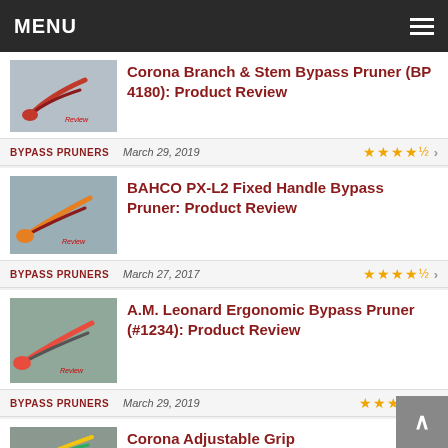MENU
[Figure (photo): Corona Branch & Stem Bypass Pruner product image]
Corona Branch & Stem Bypass Pruner (BP 4180): Product Review
BYPASS PRUNERS   March 29, 2019   ★★★★½
[Figure (photo): BAHCO PX-L2 Fixed Handle Bypass Pruner product image]
BAHCO PX-L2 Fixed Handle Bypass Pruner: Product Review
BYPASS PRUNERS   March 27, 2017   ★★★★½
[Figure (photo): A.M. Leonard Ergonomic Bypass Pruner product image]
A.M. Leonard Ergonomic Bypass Pruner (#1234): Product Review
BYPASS PRUNERS   March 29, 2019   ★★★★★
[Figure (photo): Corona Adjustable Grip Bypass Pruner product image]
Corona Adjustable Grip